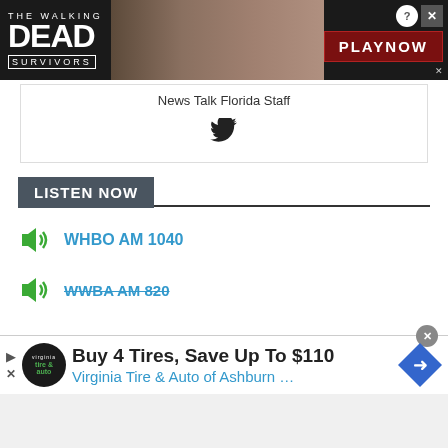[Figure (screenshot): The Walking Dead Survivors game advertisement banner with 'PLAY NOW' button]
News Talk Florida Staff
[Figure (logo): Twitter bird icon]
LISTEN NOW
WHBO AM 1040
WWBA AM 820
[Figure (screenshot): Advertisement: Buy 4 Tires, Save Up To $110 — Virginia Tire & Auto of Ashburn ...]